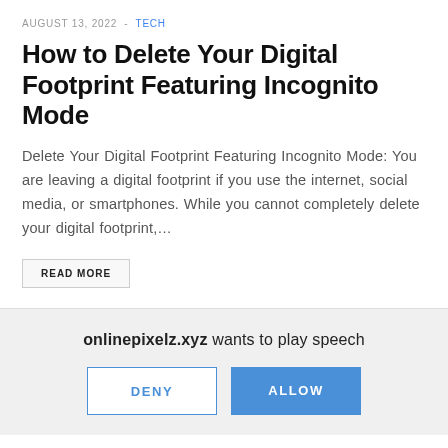AUGUST 13, 2022 - TECH
How to Delete Your Digital Footprint Featuring Incognito Mode
Delete Your Digital Footprint Featuring Incognito Mode: You are leaving a digital footprint if you use the internet, social media, or smartphones. While you cannot completely delete your digital footprint,…
READ MORE
onlinepixelz.xyz wants to play speech
DENY
ALLOW